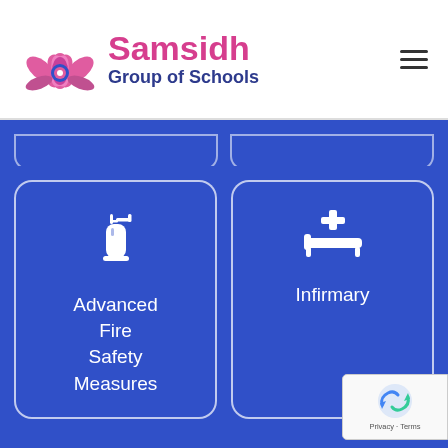Samsidh Group of Schools
[Figure (infographic): Two feature cards on blue background. Left card has fire extinguisher icon and text 'Advanced Fire Safety Measures'. Right card has medical bed/infirmary icon and text 'Infirmary'.]
[Figure (logo): reCAPTCHA badge with Privacy - Terms text]